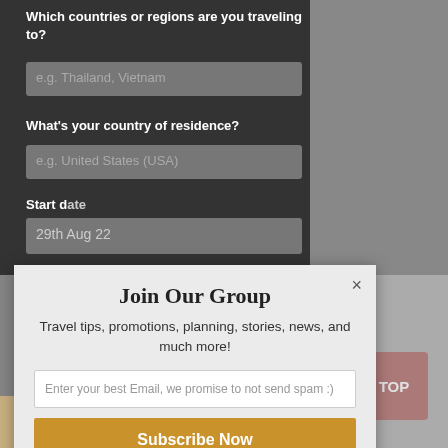Which countries or regions are you traveling to?
e.g. Thailand, Vietnam
What's your country of residence?
e.g. United States (USA)
Start date
29th Aug 22
End date
4th Sep 22
Enter Traveler's Age
(e.g. 28, 24)
Join Our Group
Travel tips, promotions, planning, stories, news, and much more!
Enter your best Email, we promise to not send spam :)
Subscribe Now
Get a Price
TOP